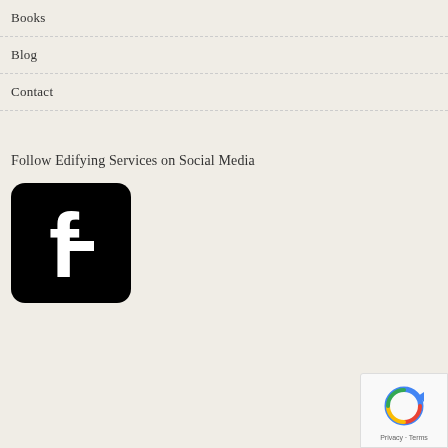Books
Blog
Contact
Follow Edifying Services on Social Media
[Figure (logo): Facebook logo icon — black rounded square with white lowercase f]
[Figure (other): Google reCAPTCHA badge with spinning arrows icon and Privacy - Terms text]